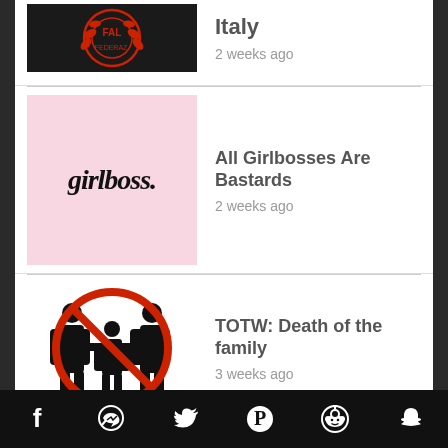Italy
2 weeks ago
All Girlbosses Are Bastards
2 weeks ago
TOTW: Death of the family
3 weeks ago
Will Right-Libertarians Become the New Alt-Right?: A Discussion
4 weeks ago
Facebook  Messenger  Twitter  Pinterest  Reddit  Snapchat